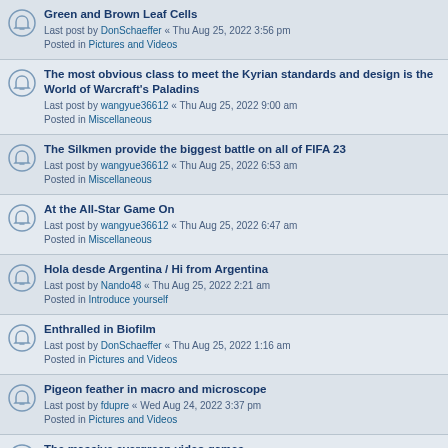Green and Brown Leaf Cells
Last post by DonSchaeffer « Thu Aug 25, 2022 3:56 pm
Posted in Pictures and Videos
The most obvious class to meet the Kyrian standards and design is the World of Warcraft's Paladins
Last post by wangyue36612 « Thu Aug 25, 2022 9:00 am
Posted in Miscellaneous
The Silkmen provide the biggest battle on all of FIFA 23
Last post by wangyue36612 « Thu Aug 25, 2022 6:53 am
Posted in Miscellaneous
At the All-Star Game On
Last post by wangyue36612 « Thu Aug 25, 2022 6:47 am
Posted in Miscellaneous
Hola desde Argentina / Hi from Argentina
Last post by Nando48 « Thu Aug 25, 2022 2:21 am
Posted in Introduce yourself
Enthralled in Biofilm
Last post by DonSchaeffer « Thu Aug 25, 2022 1:16 am
Posted in Pictures and Videos
Pigeon feather in macro and microscope
Last post by fdupre « Wed Aug 24, 2022 3:37 pm
Posted in Pictures and Videos
The massive evergreen video games
Last post by Emilylowes « Wed Aug 24, 2022 2:50 am
Posted in Beginner's corner
What do you anticipate from Diablo 2
Last post by Emilylowes « Wed Aug 24, 2022 2:41 am
Posted in Miscellaneous
Real-world trading happened informally
Last post by Emilylowes « Wed Aug 24, 2022 2:31 am
Posted in Introduce yourself